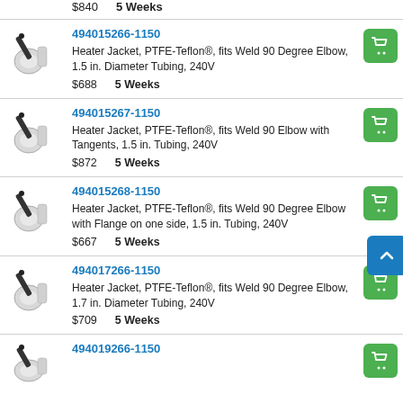$840   5 Weeks
494015266-1150 | Heater Jacket, PTFE-Teflon®, fits Weld 90 Degree Elbow, 1.5 in. Diameter Tubing, 240V | $688 | 5 Weeks
494015267-1150 | Heater Jacket, PTFE-Teflon®, fits Weld 90 Elbow with Tangents, 1.5 in. Tubing, 240V | $872 | 5 Weeks
494015268-1150 | Heater Jacket, PTFE-Teflon®, fits Weld 90 Degree Elbow with Flange on one side, 1.5 in. Tubing, 240V | $667 | 5 Weeks
494017266-1150 | Heater Jacket, PTFE-Teflon®, fits Weld 90 Degree Elbow, 1.7 in. Diameter Tubing, 240V | $709 | 5 Weeks
494019266-1150